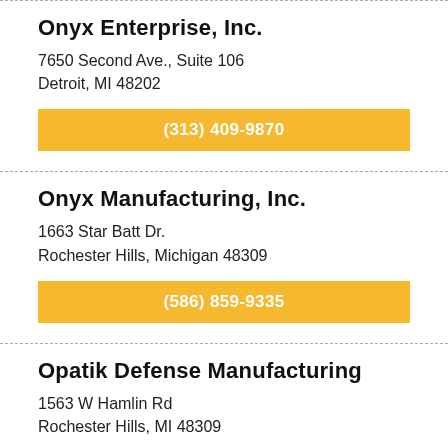Onyx Enterprise, Inc.
7650 Second Ave., Suite 106
Detroit, MI 48202
(313) 409-9870
Onyx Manufacturing, Inc.
1663 Star Batt Dr.
Rochester Hills, Michigan 48309
(586) 859-9335
Opatik Defense Manufacturing
1563 W Hamlin Rd
Rochester Hills, MI 48309